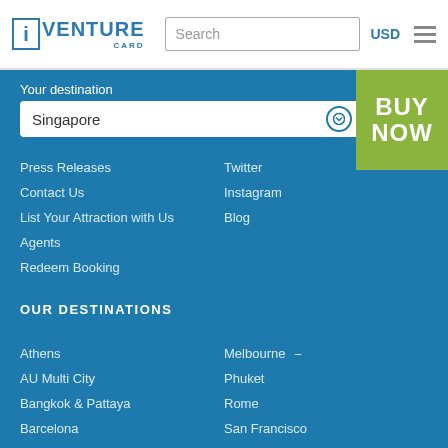[Figure (logo): iVenture Card logo with blue i in a box and VENTURE CARD text]
Search
USD
Your destination
Singapore
BUY NOW
Press Releases
Contact Us
List Your Attraction with Us
Agents
Redeem Booking
Twitter
Instagram
Blog
OUR DESTINATIONS
Athens
AU Multi City
Bangkok & Pattaya
Barcelona
Cape Town
Melbourne
Phuket
Rome
San Francisco
Singapore